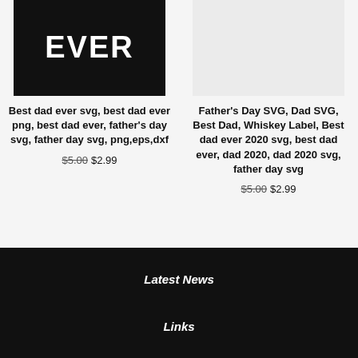[Figure (photo): Black background product image showing 'EVER' text in white bold letters]
[Figure (photo): Light gray background product thumbnail image]
Best dad ever svg, best dad ever png, best dad ever, father's day svg, father day svg, png,eps,dxf
$5.00 $2.99
Father's Day SVG, Dad SVG, Best Dad, Whiskey Label, Best dad ever 2020 svg, best dad ever, dad 2020, dad 2020 svg, father day svg
$5.00 $2.99
Latest News
Links